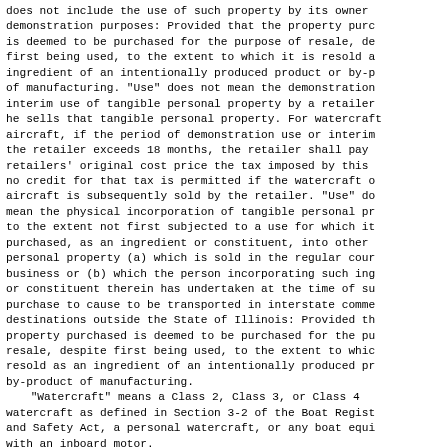does not include the use of such property by its owner for demonstration purposes: Provided that the property purchased is deemed to be purchased for the purpose of resale, despite first being used, to the extent to which it is resold as an ingredient of an intentionally produced product or by-product of manufacturing. "Use" does not mean the demonstration or interim use of tangible personal property by a retailer before he sells that tangible personal property. For watercraft and aircraft, if the period of demonstration use or interim use by the retailer exceeds 18 months, the retailer shall pay on the retailers' original cost price the tax imposed by this Act, and no credit for that tax is permitted if the watercraft or aircraft is subsequently sold by the retailer. "Use" does not mean the physical incorporation of tangible personal property, to the extent not first subjected to a use for which it was purchased, as an ingredient or constituent, into other tangible personal property (a) which is sold in the regular course of business or (b) which the person incorporating such ingredient or constituent therein has undertaken at the time of such purchase to cause to be transported in interstate commerce to destinations outside the State of Illinois: Provided that the property purchased is deemed to be purchased for the purpose of resale, despite first being used, to the extent to which it is resold as an ingredient of an intentionally produced product or by-product of manufacturing.
"Watercraft" means a Class 2, Class 3, or Class 4 watercraft as defined in Section 3-2 of the Boat Registration and Safety Act, a personal watercraft, or any boat equipped with an inboard motor.
"Purchase at retail" means the acquisition of the ownership of, or title to, tangible personal property through a sale at retail.